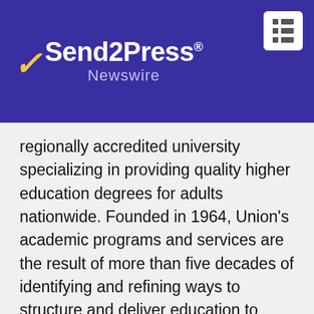Send2Press Newswire
regionally accredited university specializing in providing quality higher education degrees for adults nationwide. Founded in 1964, Union's academic programs and services are the result of more than five decades of identifying and refining ways to structure and deliver education to meet the needs of adults.
Distinguished as the pioneer in adult education, Union perfected the concepts now common in higher education such as the hybrid model, a blend of online and traditional classroom instruction.